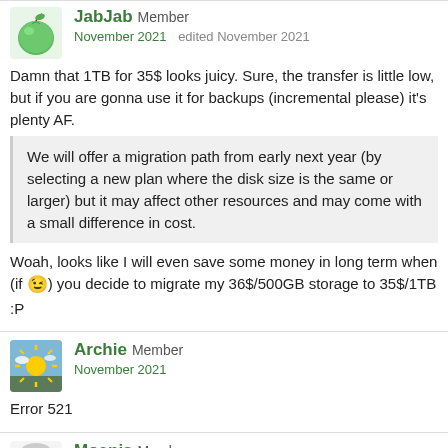[Figure (illustration): Green apple avatar for user JabJab]
JabJab Member
November 2021   edited November 2021
Damn that 1TB for 35$ looks juicy. Sure, the transfer is little low, but if you are gonna use it for backups (incremental please) it's plenty AF.
We will offer a migration path from early next year (by selecting a new plan where the disk size is the same or larger) but it may affect other resources and may come with a small difference in cost.
Woah, looks like I will even save some money in long term when (if 😉) you decide to migrate my 36$/500GB storage to 35$/1TB :P
[Figure (illustration): Archie avatar - sun over landscape]
Archie Member
November 2021
Error 521
[Figure (illustration): Moenis avatar - anime character with glasses]
Moenis Member
November 2021
Computational servers are good